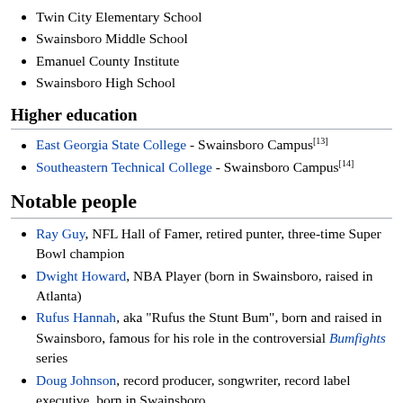Twin City Elementary School
Swainsboro Middle School
Emanuel County Institute
Swainsboro High School
Higher education
East Georgia State College - Swainsboro Campus[13]
Southeastern Technical College - Swainsboro Campus[14]
Notable people
Ray Guy, NFL Hall of Famer, retired punter, three-time Super Bowl champion
Dwight Howard, NBA Player (born in Swainsboro, raised in Atlanta)
Rufus Hannah, aka "Rufus the Stunt Bum", born and raised in Swainsboro, famous for his role in the controversial Bumfights series
Doug Johnson, record producer, songwriter, record label executive, born in Swainsboro
Pat Mitchell, media personality and businesswoman
Tony Mitchell, professional basketball player for the Fort